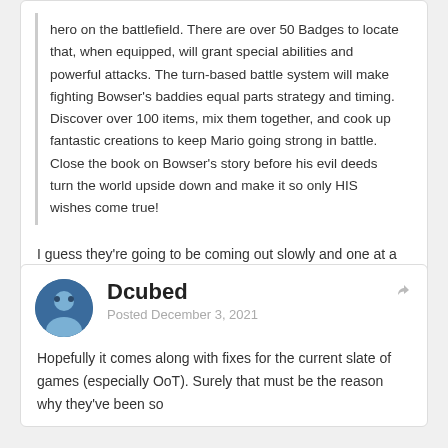hero on the battlefield. There are over 50 Badges to locate that, when equipped, will grant special abilities and powerful attacks. The turn-based battle system will make fighting Bowser's baddies equal parts strategy and timing. Discover over 100 items, mix them together, and cook up fantastic creations to keep Mario going strong in battle. Close the book on Bowser's story before his evil deeds turn the world upside down and make it so only HIS wishes come true!
I guess they’re going to be coming out slowly and one at a time, huh? 😂
Edited December 3, 2021 by Julius
Dcubed
Posted December 3, 2021
Hopefully it comes along with fixes for the current slate of games (especially OoT).  Surely that must be the reason why they’ve been so